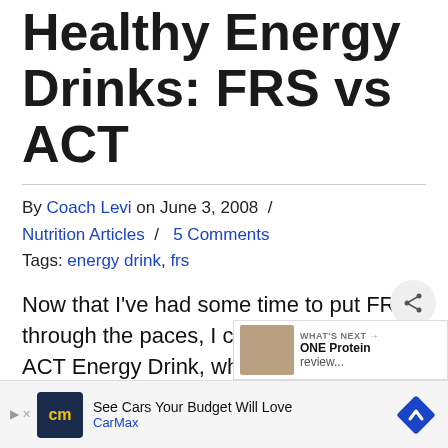Healthy Energy Drinks: FRS vs ACT
By Coach Levi on June 3, 2008 / Nutrition Articles / 5 Comments
Tags: energy drink, frs
Now that I've had some time to put FRS through the paces, I can compare it to ACT Energy Drink, which I've used for a couple years already. Here are my thoughts and opinions in this head to head comparison